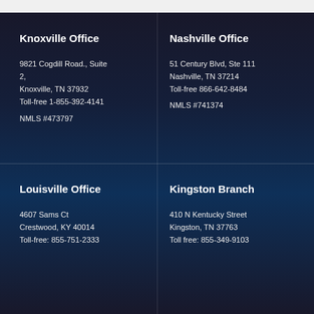Knoxville Office
9821 Cogdill Road., Suite 2,
Knoxville, TN 37932
Toll-free 1-855-392-4141

NMLS #473797
Nashville Office
51 Century Blvd, Ste 111
Nashville, TN 37214
Toll-free 866-642-8484

NMLS #741374
Louisville Office
4607 Sams Ct
Crestwood, KY 40014
Toll-free: 855-751-2333
Kingston Branch
410 N Kentucky Street
Kingston, TN 37763
Toll free: 855-349-9103